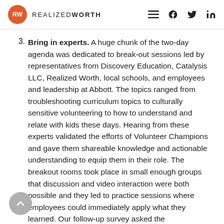RW REALIZEDWORTH
3. Bring in experts. A huge chunk of the two-day agenda was dedicated to break-out sessions led by representatives from Discovery Education, Catalysis LLC, Realized Worth, local schools, and employees and leadership at Abbott. The topics ranged from troubleshooting curriculum topics to culturally sensitive volunteering to how to understand and relate with kids these days. Hearing from these experts validated the efforts of Volunteer Champions and gave them shareable knowledge and actionable understanding to equip them in their role. The breakout rooms took place in small enough groups that discussion and video interaction were both possible and they led to practice sessions where employees could immediately apply what they learned. Our follow-up survey asked the